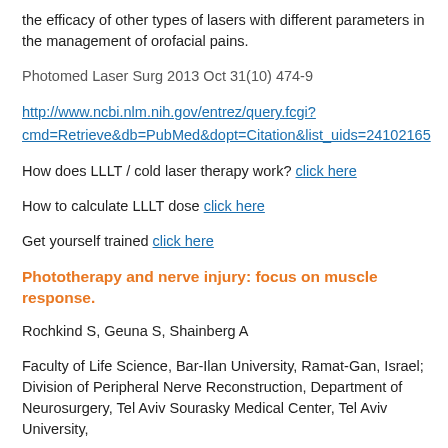the efficacy of other types of lasers with different parameters in the management of orofacial pains.
Photomed Laser Surg 2013 Oct 31(10) 474-9
http://www.ncbi.nlm.nih.gov/entrez/query.fcgi?cmd=Retrieve&db=PubMed&dopt=Citation&list_uids=24102165
How does LLLT / cold laser therapy work? click here
How to calculate LLLT dose click here
Get yourself trained click here
Phototherapy and nerve injury: focus on muscle response.
Rochkind S, Geuna S, Shainberg A
Faculty of Life Science, Bar-Ilan University, Ramat-Gan, Israel; Division of Peripheral Nerve Reconstruction, Department of Neurosurgery, Tel Aviv Sourasky Medical Center, Tel Aviv University,